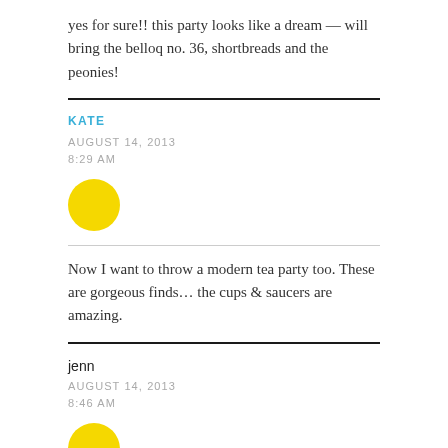yes for sure!! this party looks like a dream — will bring the belloq no. 36, shortbreads and the peonies!
KATE
AUGUST 14, 2013
8:29 AM
[Figure (illustration): Yellow circle avatar placeholder for user Kate]
Now I want to throw a modern tea party too. These are gorgeous finds… the cups & saucers are amazing.
jenn
AUGUST 14, 2013
8:46 AM
[Figure (illustration): Yellow circle avatar placeholder for user jenn]
i had one for my bridal shower and it was fabulous. you can